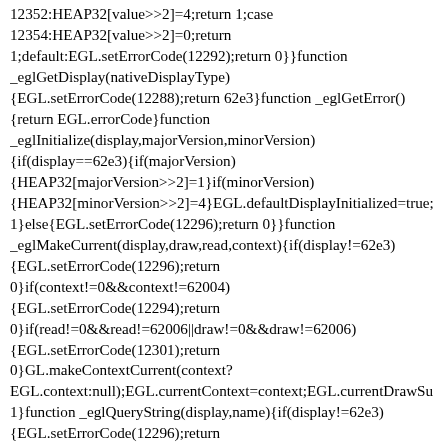12352:HEAP32[value>>2]=4;return 1;case 12354:HEAP32[value>>2]=0;return 1;default:EGL.setErrorCode(12292);return 0}}function _eglGetDisplay(nativeDisplayType){EGL.setErrorCode(12288);return 62e3}function _eglGetError(){return EGL.errorCode}function _eglInitialize(display,majorVersion,minorVersion){if(display==62e3){if(majorVersion){HEAP32[majorVersion>>2]=1}if(minorVersion){HEAP32[minorVersion>>2]=4}EGL.defaultDisplayInitialized=true;return 1}else{EGL.setErrorCode(12296);return 0}}function _eglMakeCurrent(display,draw,read,context){if(display!=62e3){EGL.setErrorCode(12296);return 0}if(context!=0&&context!=62004){EGL.setErrorCode(12294);return 0}if(read!=0&&read!=62006||draw!=0&&draw!=62006){EGL.setErrorCode(12301);return 0}GL.makeContextCurrent(context?EGL.context:null);EGL.currentContext=context;EGL.currentDrawSu 1}function _eglQueryString(display,name){if(display!=62e3){EGL.setErrorCode(12296);return 0}EGL.setErrorCode(12288);if(EGL.stringCache[name])return EGL.stringCache[name];var ret;switch(name){case 12371:ret=allocateUTF8("Emscripten");break;case 12372:ret=allocateUTF8("1.4 Emscripten EGL");break;case